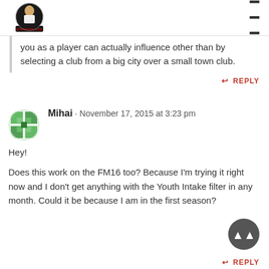Strikerless logo and navigation menu
you as a player can actually influence other than by selecting a club from a big city over a small town club.
REPLY
Mihai · November 17, 2015 at 3:23 pm
Hey!
Does this work on the FM16 too? Because I'm trying it right now and I don't get anything with the Youth Intake filter in any month. Could it be because I am in the first season?
REPLY